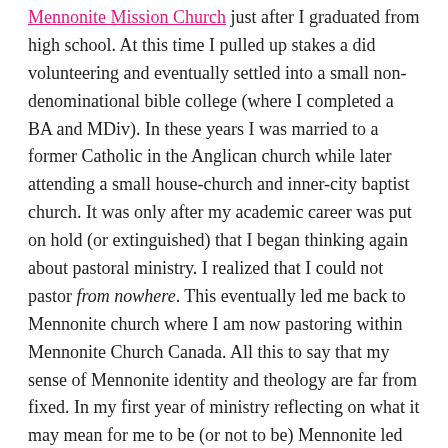Mennonite Mission Church just after I graduated from high school. At this time I pulled up stakes a did volunteering and eventually settled into a small non-denominational bible college (where I completed a BA and MDiv). In these years I was married to a former Catholic in the Anglican church while later attending a small house-church and inner-city baptist church. It was only after my academic career was put on hold (or extinguished) that I began thinking again about pastoral ministry. I realized that I could not pastor from nowhere. This eventually led me back to Mennonite church where I am now pastoring within Mennonite Church Canada. All this to say that my sense of Mennonite identity and theology are far from fixed. In my first year of ministry reflecting on what it may mean for me to be (or not to be) Mennonite led me to write the following article, The Impossible Anabaptist.
DavidD  February 1, 2008
Anabaptism, Biographical, Faith, Group Identity, Theology